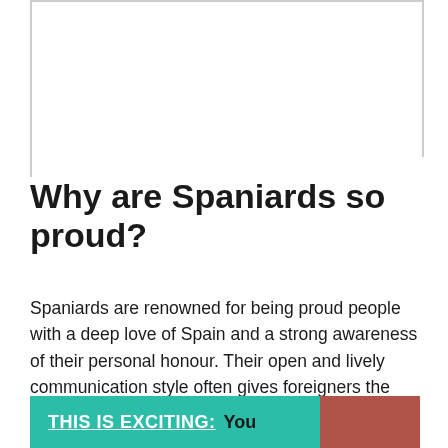[Figure (photo): Blank image placeholder area at top of page with border]
Why are Spaniards so proud?
Spaniards are renowned for being proud people with a deep love of Spain and a strong awareness of their personal honour. Their open and lively communication style often gives foreigners the impression that they are confident and enthusiastic people.
THIS IS EXCITING: You